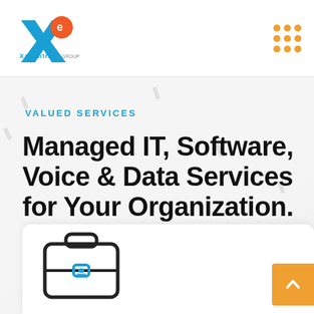Xalientra — logo and navigation header
VALUED SERVICES
Managed IT, Software, Voice & Data Services for Your Organization.
[Figure (illustration): Briefcase icon outline illustration at bottom of page in a white card area]